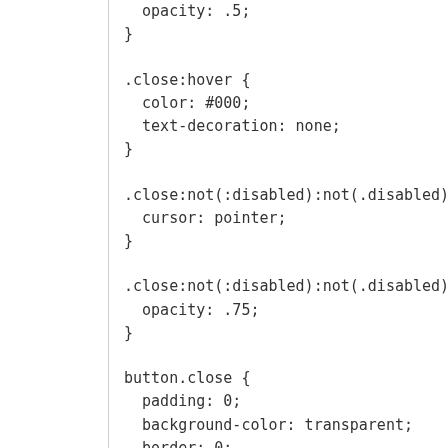opacity: .5;
}
.close:hover {
  color: #000;
  text-decoration: none;
}
.close:not(:disabled):not(.disabled) {
  cursor: pointer;
}
.close:not(:disabled):not(.disabled) {
  opacity: .75;
}
button.close {
  padding: 0;
  background-color: transparent;
  border: 0;
  -webkit-appearance: none;
  -moz-appearance: none;
  appearance: none;